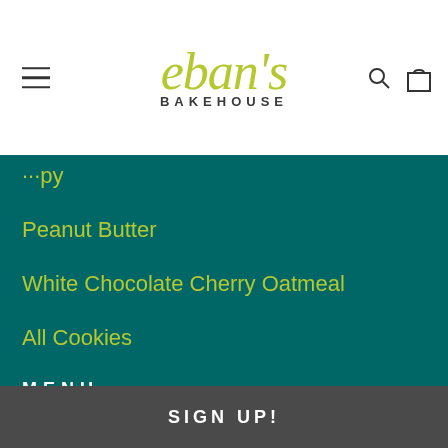[Figure (logo): Eban's Bakehouse logo with script font in olive/yellow-green and BAKEHOUSE in dark uppercase letters]
Peanut Butter
White Chocolate Cherry Oatmeal
All Cookies
MENU
Search
Find Us
Refunds/Returns
Let's Talk
SIGN UP!